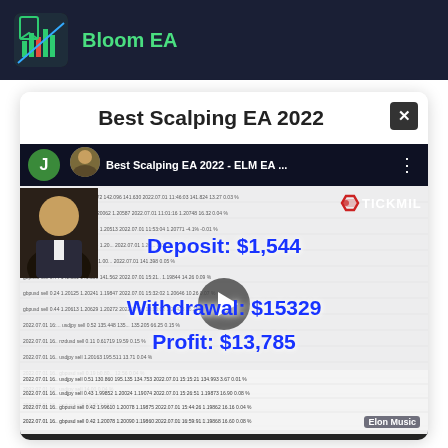[Figure (logo): Bloom EA app logo icon - green chart icon on dark background]
Bloom EA
Best Scalping EA 2022
[Figure (screenshot): YouTube video thumbnail showing a trading account statement with overlaid text: Deposit: $1,544 / Withdrawal: $15329 / Profit: $13,785. TICKMILL logo visible. Man in suit profile image. Trading table rows visible in background. Play button overlay. Elon Music watermark.]